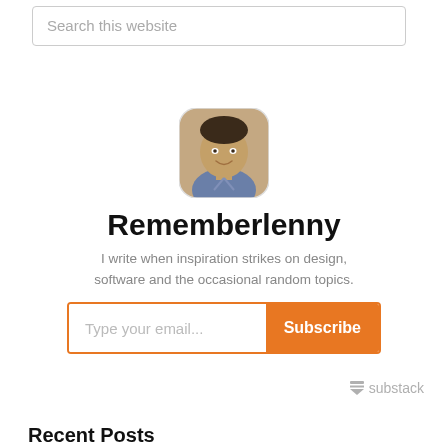Search this website
[Figure (photo): Rounded square avatar photo of a young man smiling, wearing a collared shirt]
Rememberlenny
I write when inspiration strikes on design, software and the occasional random topics.
Type your email... Subscribe
[Figure (logo): Substack logo with bookmark icon and the word 'substack' in grey]
Recent Posts